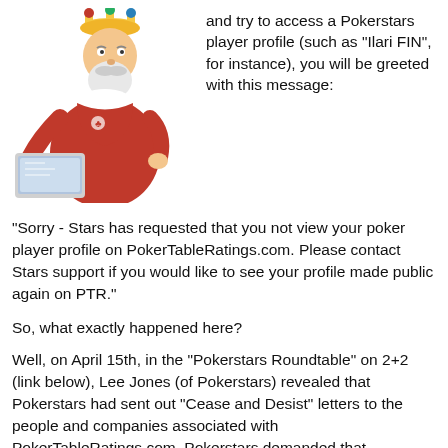[Figure (illustration): A 3D cartoon king character with a crown, white beard, and red robe, holding and looking at a laptop computer.]
and try to access a Pokerstars player profile (such as "Ilari FIN", for instance), you will be greeted with this message:
"Sorry - Stars has requested that you not view your poker player profile on PokerTableRatings.com. Please contact Stars support if you would like to see your profile made public again on PTR."
So, what exactly happened here?
Well, on April 15th, in the "Pokerstars Roundtable" on 2+2 (link below), Lee Jones (of Pokerstars) revealed that Pokerstars had sent out "Cease and Desist" letters to the people and companies associated with PokerTableRatings.com. Pokerstars demanded that PokerTableRatings "must immediately cease infringing our